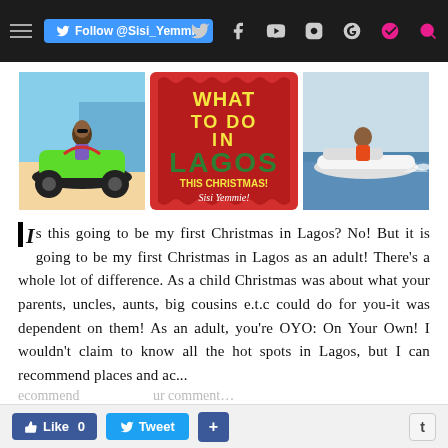Follow @Sisi_Yemmie — social nav bar with Twitter, Facebook, YouTube, Instagram, Pinterest, Search icons
[Figure (photo): Three images side by side: left – woman on green quad bike on a beach; center – red decorative tile reading WHAT TO DO IN LAGOS THIS CHRISTMAS! Sisi Yemmie!; right – person on a jet ski on water]
Is this going to be my first Christmas in Lagos? No! But it is going to be my first Christmas in Lagos as an adult! There's a whole lot of difference. As a child Christmas was about what your parents, uncles, aunts, big cousins e.t.c could do for you-it was dependent on them! As an adult, you're OYO: On Your Own! I wouldn't claim to know all the hot spots in Lagos, but I can recommend places and ac…
Like 0   Tweet   +   t